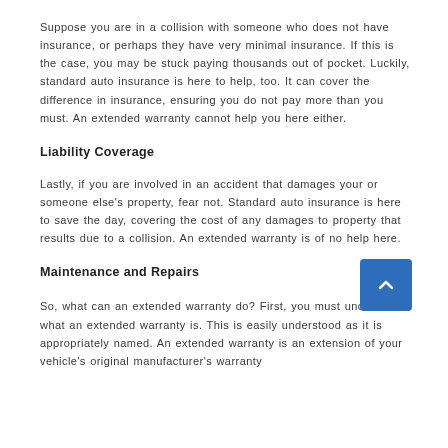Suppose you are in a collision with someone who does not have insurance, or perhaps they have very minimal insurance. If this is the case, you may be stuck paying thousands out of pocket. Luckily, standard auto insurance is here to help, too. It can cover the difference in insurance, ensuring you do not pay more than you must. An extended warranty cannot help you here either.
Liability Coverage
Lastly, if you are involved in an accident that damages your or someone else's property, fear not. Standard auto insurance is here to save the day, covering the cost of any damages to property that results due to a collision. An extended warranty is of no help here.
Maintenance and Repairs
[Figure (other): Blue square scroll-to-top button with upward chevron arrow]
So, what can an extended warranty do? First, you must understand what an extended warranty is. This is easily understood as it is appropriately named. An extended warranty is an extension of your vehicle's original manufacturer's warranty